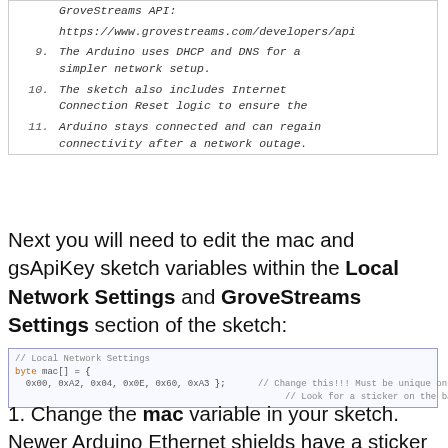|  | GroveStreams API: |
|  | https://www.grovestreams.com/developers/api |
| 9. | The Arduino uses DHCP and DNS for a simpler network setup. |
| 10. | The sketch also includes Internet Connection Reset logic to ensure the |
| 11. | Arduino stays connected and can regain connectivity after a network outage. |
Next you will need to edit the mac and gsApiKey sketch variables within the Local Network Settings and GroveStreams Settings section of the sketch:
[Figure (screenshot): Code snippet showing Local Network Settings section with mac array variable declaration and comment about changing MAC address]
1. Change the mac variable in your sketch. Newer Arduino Ethernet shields have a sticker with the MAC address on the back. Use that address. If there is no sticker, then a